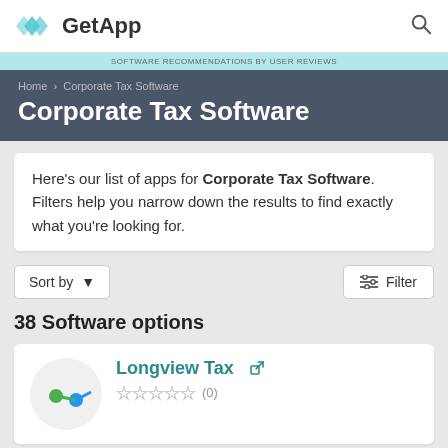GetApp
SOFTWARE RECOMMENDATIONS BY USER REVIEWS
Home › Corporate Tax Software
Corporate Tax Software
Here's our list of apps for Corporate Tax Software. Filters help you narrow down the results to find exactly what you're looking for.
Sort by ▼
Filter
38 Software options
Longview Tax ↗
☆☆☆☆☆ (0)